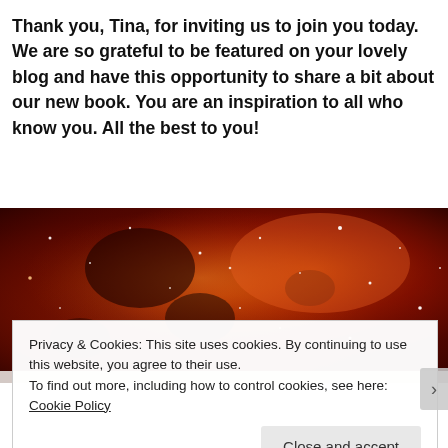Thank you, Tina, for inviting us to join you today. We are so grateful to be featured on your lovely blog and have this opportunity to share a bit about our new book. You are an inspiration to all who know you. All the best to you!
[Figure (photo): Space nebula photograph showing red and orange glowing gas clouds with scattered bright stars]
Privacy & Cookies: This site uses cookies. By continuing to use this website, you agree to their use.
To find out more, including how to control cookies, see here: Cookie Policy